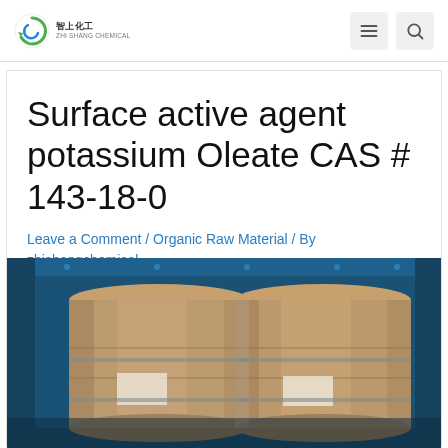Zhishang Chemical — navigation header with logo, menu and search icons
Surface active agent potassium Oleate CAS # 143-18-0
Leave a Comment / Organic Raw Material / By zhishangchemical
[Figure (photo): Photo of large brown drums/barrels wrapped in plastic inside a blue shipping container, showing bulk chemical packaging for potassium oleate product.]